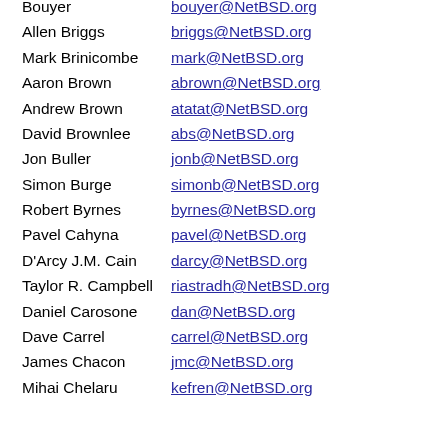| Name | Email |
| --- | --- |
| Bouyer | bouyer@NetBSD.org |
| Allen Briggs | briggs@NetBSD.org |
| Mark Brinicombe | mark@NetBSD.org |
| Aaron Brown | abrown@NetBSD.org |
| Andrew Brown | atatat@NetBSD.org |
| David Brownlee | abs@NetBSD.org |
| Jon Buller | jonb@NetBSD.org |
| Simon Burge | simonb@NetBSD.org |
| Robert Byrnes | byrnes@NetBSD.org |
| Pavel Cahyna | pavel@NetBSD.org |
| D'Arcy J.M. Cain | darcy@NetBSD.org |
| Taylor R. Campbell | riastradh@NetBSD.org |
| Daniel Carosone | dan@NetBSD.org |
| Dave Carrel | carrel@NetBSD.org |
| James Chacon | jmc@NetBSD.org |
| Mihai Chelaru | kefren@NetBSD.org |